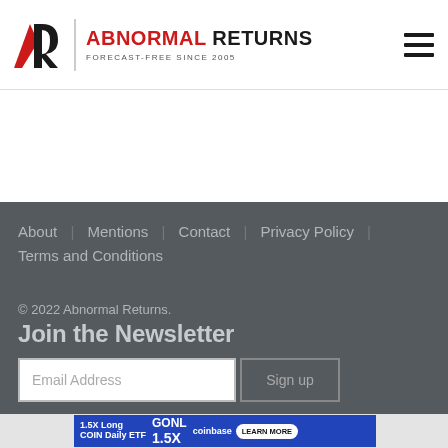ABNORMAL RETURNS — FORECAST-FREE SINCE 2005
About | Mentions | Contact | Privacy Policy | Terms and Conditions
© 2022 Abnormal Returns.
Join the Newsletter
Email Address
[Figure (infographic): Advertisement banner for 1.5X Long COIN Daily ETF with GONL ticker and Coinbase logo, blue background with LEARN MORE button]